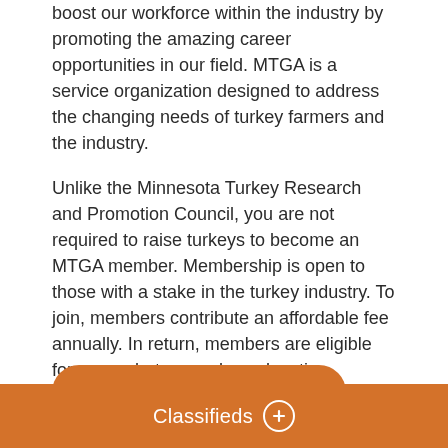boost our workforce within the industry by promoting the amazing career opportunities in our field. MTGA is a service organization designed to address the changing needs of turkey farmers and the industry.
Unlike the Minnesota Turkey Research and Promotion Council, you are not required to raise turkeys to become an MTGA member. Membership is open to those with a stake in the turkey industry. To join, members contribute an affordable fee annually. In return, members are eligible for news alerts, member education, workforce opportunities, and countless other benefits.
ANNUAL REPORT
Classifieds +